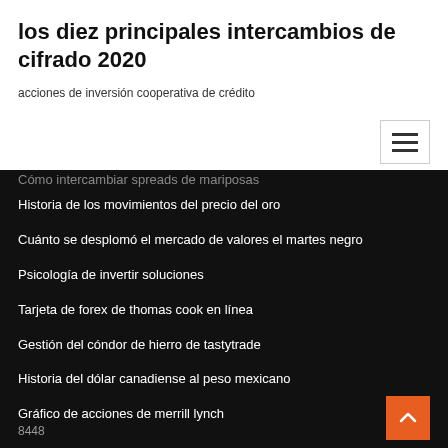los diez principales intercambios de cifrado 2020
acciones de inversión cooperativa de crédito
Cómo intercambiar spreads de mariposas
Historia de los movimientos del precio del oro
Cuánto se desplomó el mercado de valores el martes negro
Psicología de invertir soluciones
Tarjeta de forex de thomas cook en línea
Gestión del cóndor de hierro de tastytrade
Historia del dólar canadiense al peso mexicano
Gráfico de acciones de merrill lynch
8448